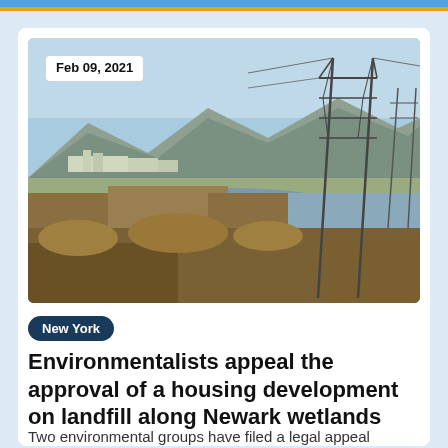[Figure (photo): Wetlands landscape with standing water, marsh grasses, power line towers, mountains in background, and industrial buildings on horizon. Date stamp: Feb 09, 2021.]
Feb 09, 2021
New York
Environmentalists appeal the approval of a housing development on landfill along Newark wetlands
Two environmental groups have filed a legal appeal